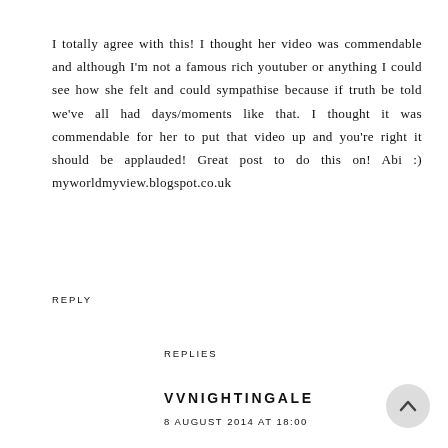I totally agree with this! I thought her video was commendable and although I'm not a famous rich youtuber or anything I could see how she felt and could sympathise because if truth be told we've all had days/moments like that. I thought it was commendable for her to put that video up and you're right it should be applauded! Great post to do this on! Abi :) myworldmyview.blogspot.co.uk
REPLY
REPLIES
VVNIGHTINGALE
8 AUGUST 2014 AT 18:00
Thanks for the comment :)